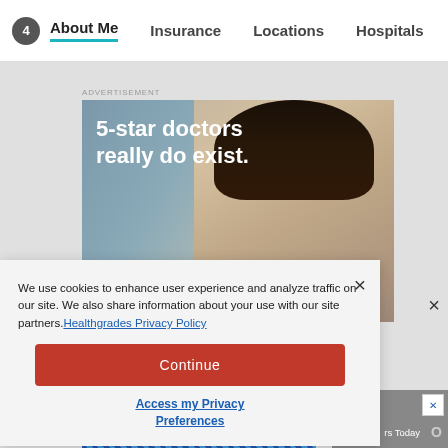About Me | Insurance | Locations | Hospitals
ADVERTISEMENT
[Figure (photo): Advertisement image with text '5-star doctors really do exist.' overlaid on a photo of a smiling woman in professional attire]
We use cookies to enhance user experience and analyze traffic on our site. We also share information about your use with our site partners. Healthgrades Privacy Policy
Continue
Access my Privacy Preferences